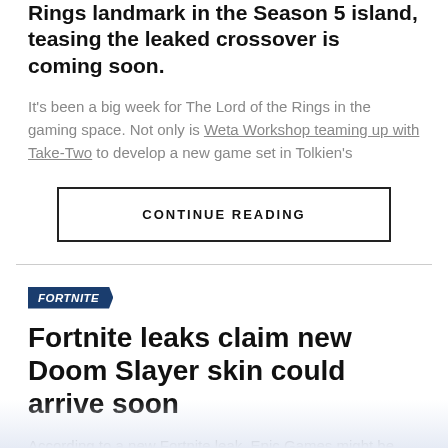Rings landmark in the Season 5 island, teasing the leaked crossover is coming soon.
It's been a big week for The Lord of the Rings in the gaming space. Not only is Weta Workshop teaming up with Take-Two to develop a new game set in Tolkien's
CONTINUE READING
FORTNITE
Fortnite leaks claim new Doom Slayer skin could arrive soon
According to a new Fortnite leak, Epic Games might be planning to bring Doom Slayer as a brand new cosmetic skin.